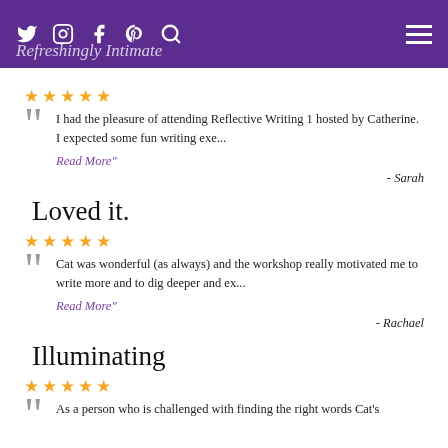Refreshingly Intimate
★★★★★
I had the pleasure of attending Reflective Writing 1 hosted by Catherine. I expected some fun writing exe...
Read More"
- Sarah
Loved it.
★★★★★
Cat was wonderful (as always) and the workshop really motivated me to write more and to dig deeper and ex...
Read More"
- Rachael
Illuminating
★★★★★
As a person who is challenged with finding the right words Cat's